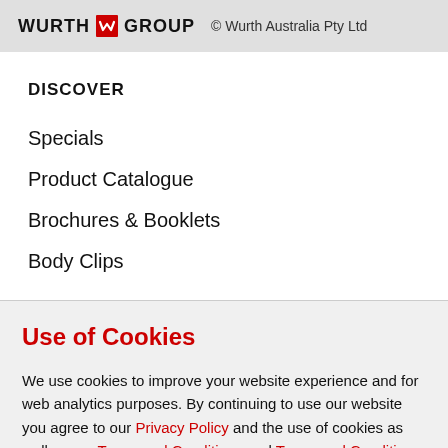WURTH GROUP © Wurth Australia Pty Ltd
DISCOVER
Specials
Product Catalogue
Brochures & Booklets
Body Clips
Use of Cookies
We use cookies to improve your website experience and for web analytics purposes. By continuing to use our website you agree to our Privacy Policy and the use of cookies as well as our Terms and Conditions and Terms and Conditions - Web & App.
CLOSE